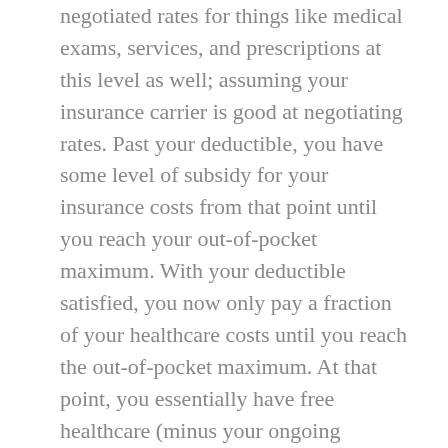negotiated rates for things like medical exams, services, and prescriptions at this level as well; assuming your insurance carrier is good at negotiating rates. Past your deductible, you have some level of subsidy for your insurance costs from that point until you reach your out-of-pocket maximum. With your deductible satisfied, you now only pay a fraction of your healthcare costs until you reach the out-of-pocket maximum. At that point, you essentially have free healthcare (minus your ongoing premiums,) and that's probably as good a year as any to try to get anything else you might need